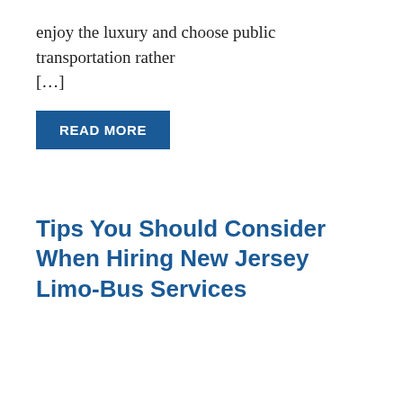enjoy the luxury and choose public transportation rather […]
READ MORE
Tips You Should Consider When Hiring New Jersey Limo-Bus Services
Limo and Party Bus services are always fantastic for special events like weddings, parties, proms, etc. New